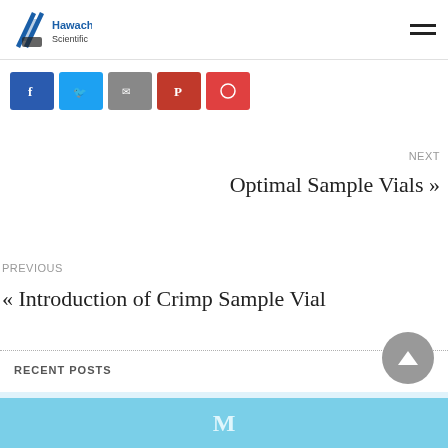Hawach Scientific
[Figure (screenshot): Social share buttons: Facebook (blue), Twitter (light blue), Email (gray), Pinterest (dark red), Reddit (red-orange)]
NEXT
Optimal Sample Vials »
PREVIOUS
« Introduction of Crimp Sample Vial
RECENT POSTS
[Figure (logo): Hawach Scientific logo thumbnail for recent post]
M